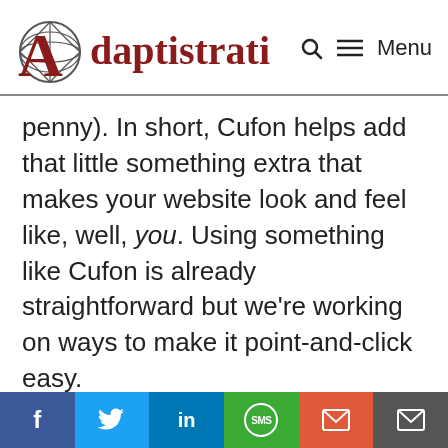Adaptistration  🔍  ≡  Menu
penny). In short, Cufon helps add that little something extra that makes your website look and feel like, well, you. Using something like Cufon is already straightforward but we're working on ways to make it point-and-click easy.
Poof! There It Is.
If you've been keeping track of Venture